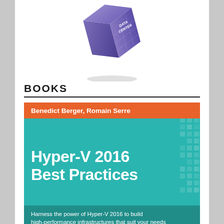[Figure (illustration): 3D cube/box logo with 'DATA CENTER' text on its face, purple/blue gradient, shown at an angle from above, partially cropped at top]
BOOKS
[Figure (illustration): Book cover for 'Hyper-V 2016 Best Practices' by Benedict Berger and Romain Serre. Teal/turquoise background with orange author bar at top, decorative pixel/square pattern on right side, white bold title text, dark semi-transparent bottom bar with subtitle text: Harness the power of Hyper-V 2016 to build high-performance infrastructures that suit your needs]